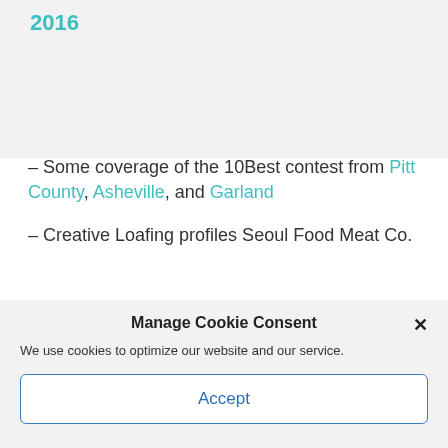2016
– Some coverage of the 10Best contest from Pitt County, Asheville, and Garland
– Creative Loafing profiles Seoul Food Meat Co.
Seoul Food Meat Co. in South End is a cross
Manage Cookie Consent
We use cookies to optimize our website and our service.
Accept